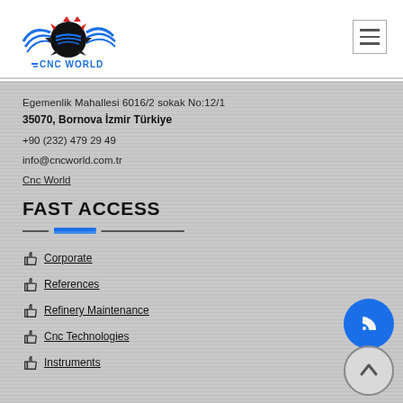[Figure (logo): CNC World logo with blue wings, black gear, and blue horizontal lines with text 'CNC WORLD']
Egemenlik Mahallesi 6016/2 sokak No:12/1
35070, Bornova İzmir Türkiye
+90 (232) 479 29 49
info@cncworld.com.tr
Cnc World
FAST ACCESS
Corporate
References
Refinery Maintenance
Cnc Technologies
Instruments